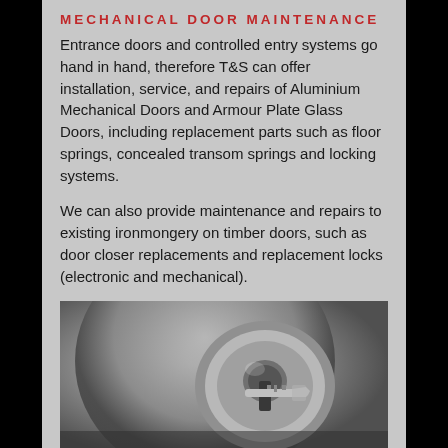MECHANICAL DOOR MAINTENANCE
Entrance doors and controlled entry systems go hand in hand, therefore T&S can offer installation, service, and repairs of Aluminium Mechanical Doors and Armour Plate Glass Doors, including replacement parts such as floor springs, concealed transom springs and locking systems.
We can also provide maintenance and repairs to existing ironmongery on timber doors, such as door closer replacements and replacement locks (electronic and mechanical).
[Figure (photo): Close-up black and white photograph of a key inserted into a door lock cylinder]